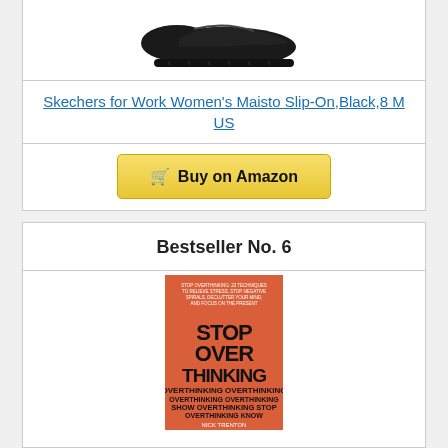[Figure (photo): Black Skechers slip-on shoe viewed from the side/top against white background]
Skechers for Work Women's Maisto Slip-On,Black,8 M US
[Figure (other): Buy on Amazon button with shopping cart icon]
Bestseller No. 6
[Figure (photo): Book cover: Stop Overthinking by Nick Trenton, red/orange cover with text arranged in head silhouette shape]